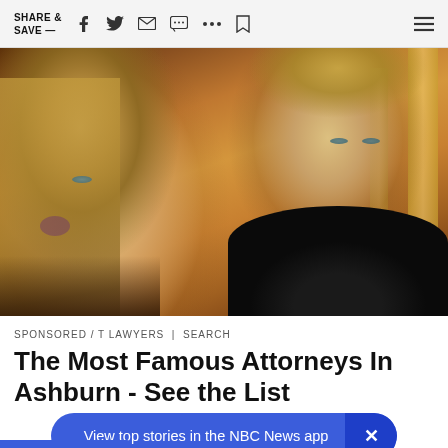SHARE & SAVE —
[Figure (photo): A blonde woman and a blonde man posing together, photographed indoors with warm golden/brown background lighting. The woman is on the left with long blonde hair; the man on the right wears a dark black polo shirt.]
SPONSORED / T LAWYERS | SEARCH
The Most Famous Attorneys In Ashburn - See the List
View top stories in the NBC News app